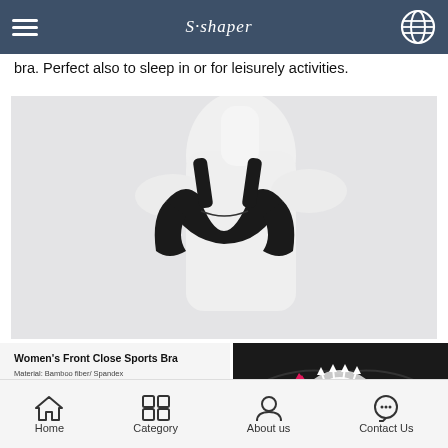S·shaper (hamburger menu and globe icon)
bra. Perfect also to sleep in or for leisurely activities.
[Figure (photo): Product photo of a black women's sports bra displayed on a white mannequin torso against a light grey background]
Women's Front Close Sports Bra
Material: Bamboo fiber/ Spandex
Color:Black/Nude/White
Size: S/M/L/XL/2XL
[Figure (photo): Close-up photo of a black front-close sports bra with illustrated white arrows and pink magneta arrows showing the push-up or support effect at the chest area]
[Figure (photo): Two thumbnail photos at the bottom: one showing a nude/beige bra, one showing a black bra on a model]
Sales point:
Seamless and comfortable fabric
Home  Category  About us  Contact Us